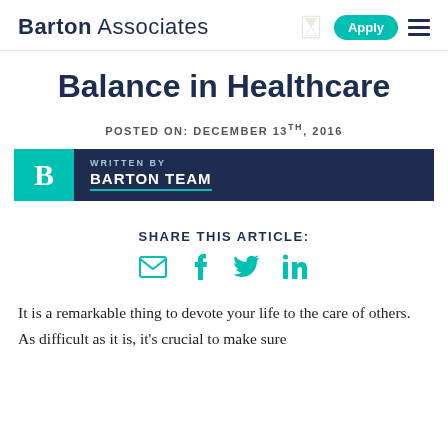Barton Associates
Balance in Healthcare
POSTED ON: DECEMBER 13TH, 2016
WRITTEN BY
BARTON TEAM
SHARE THIS ARTICLE:
It is a remarkable thing to devote your life to the care of others. As difficult as it is, it's crucial to make sure